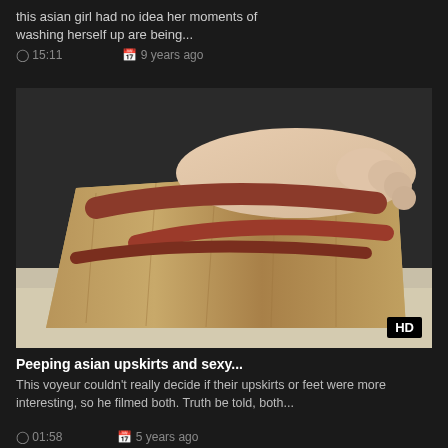this asian girl had no idea her moments of washing herself up are being...
15:11  9 years ago
[Figure (photo): Close-up photo of a woman's foot wearing a wedge sandal with brown/rust colored straps and cork wedge sole. HD badge in bottom right corner.]
Peeping asian upskirts and sexy...
This voyeur couldn't really decide if their upskirts or feet were more interesting, so he filmed both. Truth be told, both...
01:58  5 years ago
[Figure (photo): Partial view of a person's face/head with dark hair, cropped at bottom of page.]